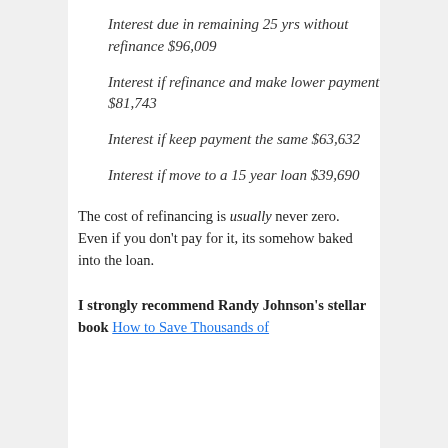Interest due in remaining 25 yrs without refinance $96,009
Interest if refinance and make lower payment $81,743
Interest if keep payment the same $63,632
Interest if move to a 15 year loan $39,690
The cost of refinancing is usually never zero. Even if you don't pay for it, its somehow baked into the loan.
I strongly recommend Randy Johnson's stellar book How to Save Thousands of